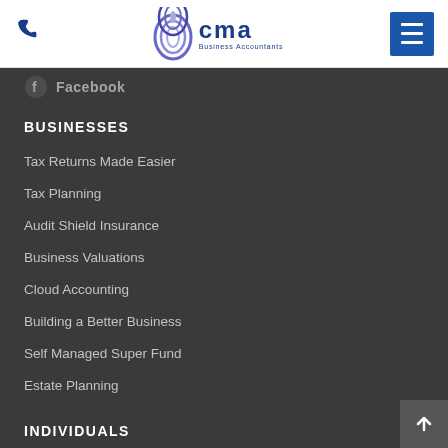CMA Business Accountants
Facebook
BUSINESSES
Tax Returns Made Easier
Tax Planning
Audit Shield Insurance
Business Valuations
Cloud Accounting
Building a Better Business
Self Managed Super Fund
Estate Planning
INDIVIDUALS